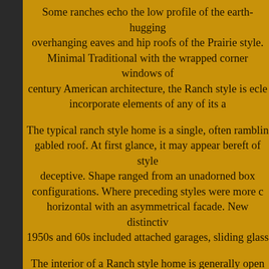Some ranches echo the low profile of the earth-hugging overhanging eaves and hip roofs of the Prairie style. Minimal Traditional with the wrapped corner windows of century American architecture, the Ranch style is ecle incorporate elements of any of its a
The typical ranch style home is a single, often ramblin gabled roof. At first glance, it may appear bereft of style deceptive. Shape ranged from an unadorned box configurations. Where preceding styles were more c horizontal with an asymmetrical facade. New distinctiv 1950s and 60s included attached garages, sliding glass
The interior of a Ranch style home is generally open wi family rooms blending into one another. Kitchens are ofte (where many a TV dinner served on a tray could be enj while watching "Ozzie and Harriet" or "Bonanza"). Slidi and patios for summertime pat
The Ranch, with its horizontal orientation relative to the s and four rooms wide, unlike many earlier styles that presented a much smaller fa
Ranch style architecture was influenced not only by pr social and economic factors. The automobile literall